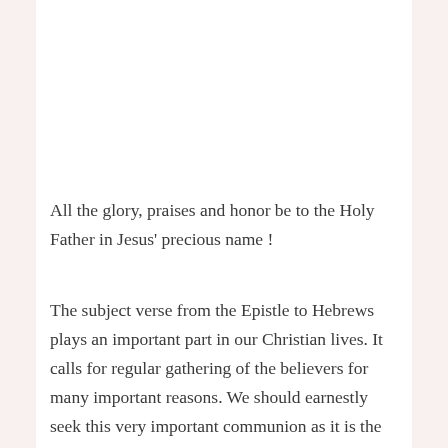All the glory, praises and honor be to the Holy Father in Jesus' precious name !
The subject verse from the Epistle to Hebrews plays an important part in our Christian lives. It calls for regular gathering of the believers for many important reasons. We should earnestly seek this very important communion as it is the will of our Lord Jesus Christ. Yes, Jesus sought regular assembly of His disciples both privately and as well as publicly. He regularly gathered